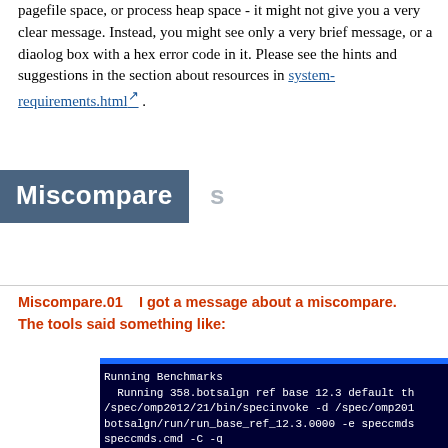pagefile space, or process heap space - it might not give you a very clear message. Instead, you might see only a very brief message, or a diaolog box with a hex error code in it. Please see the hints and suggestions in the section about resources in system-requirements.html .
Miscompares
Miscompare.01    I got a message about a miscompare. The tools said something like:
[Figure (screenshot): Terminal/console output showing benchmark run commands: Running Benchmarks, Running 358.botsalgn ref base 12.3 default th, /spec/omp2012/21/bin/specinvoke -d /spec/omp201..., botsalgn/run/run_base_ref_12.3.0000 -e speccmds..., speccmds.cmd -C -q, /spec/omp2012/21/bin/specinvoke -E -d /spec/omp..., 58.botsalgn/run/run_base_ref_12.3.0000 -e 1 -e...]